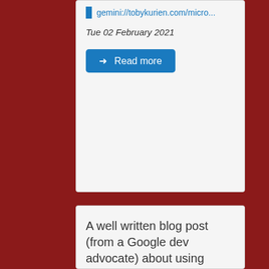gemini://tobykurien.com/micro...
Tue 02 February 2021
→ Read more
A well written blog post (from a Google dev advocate) about using machine learning for baking, resulting in inventing a new dessert. Much 'maker' spirit, such wow. #ai